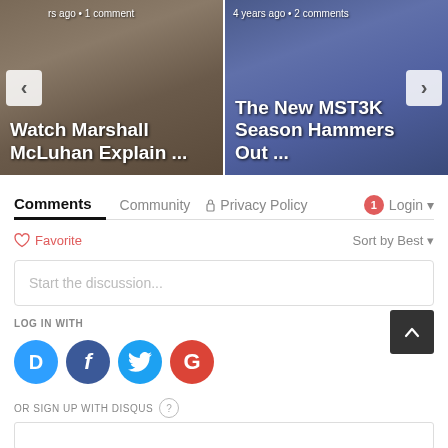[Figure (screenshot): Carousel showing two article thumbnails: 'Watch Marshall McLuhan Explain ...' (left, with older man) and 'The New MST3K Season Hammers Out ...' (right, with man in tuxedo)]
rs ago • 1 comment
Watch Marshall McLuhan Explain ...
4 years ago • 2 comments
The New MST3K Season Hammers Out ...
Comments  Community  Privacy Policy  1  Login
Favorite  Sort by Best
Start the discussion...
LOG IN WITH
OR SIGN UP WITH DISQUS ?